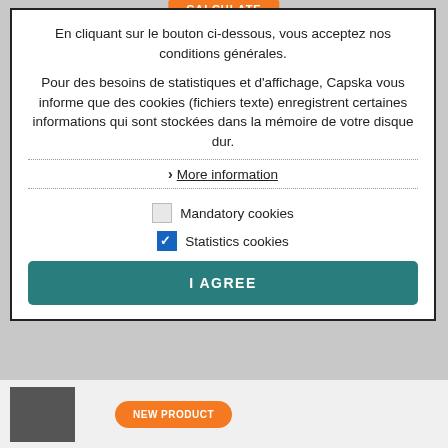[Figure (screenshot): Orange CALCULATE button at the top of the page]
En cliquant sur le bouton ci-dessous, vous acceptez nos conditions générales.
Pour des besoins de statistiques et d'affichage, Capska vous informe que des cookies (fichiers texte) enregistrent certaines informations qui sont stockées dans la mémoire de votre disque dur.
> More information
Mandatory cookies
Statistics cookies
I AGREE
[Figure (screenshot): Bottom area with product image and NEW PRODUCT orange button]